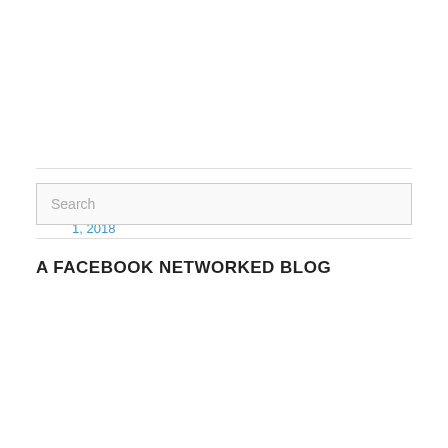January 1, 2018
Search
A FACEBOOK NETWORKED BLOG
[Figure (other): NetworkedBlogs widget showing Blog: Deaf Pagan Crossroads, Topics: Pagan, Deaf, Sign Language]